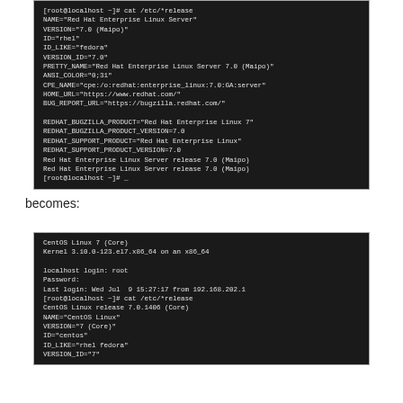[Figure (screenshot): Terminal screenshot showing RHEL /etc/*release output with NAME, VERSION, ID, ID_LIKE, VERSION_ID, PRETTY_NAME, ANSI_COLOR, CPE_NAME, HOME_URL, BUG_REPORT_URL, REDHAT_BUGZILLA_PRODUCT, REDHAT_BUGZILLA_PRODUCT_VERSION, REDHAT_SUPPORT_PRODUCT, REDHAT_SUPPORT_PRODUCT_VERSION fields and two release lines]
becomes:
[Figure (screenshot): Terminal screenshot showing CentOS Linux 7 (Core) login and /etc/*release output with NAME, VERSION, ID, ID_LIKE, VERSION_ID fields]